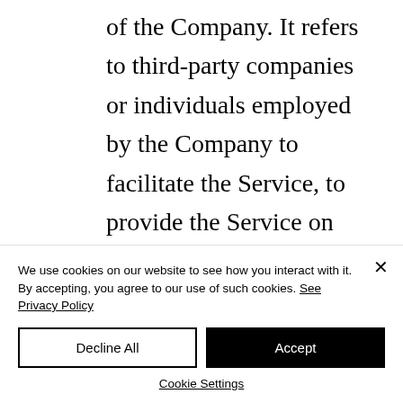of the Company. It refers to third-party companies or individuals employed by the Company to facilitate the Service, to provide the Service on behalf of the Company, to perform services related to the Service or to
We use cookies on our website to see how you interact with it. By accepting, you agree to our use of such cookies. See Privacy Policy
Decline All
Accept
Cookie Settings